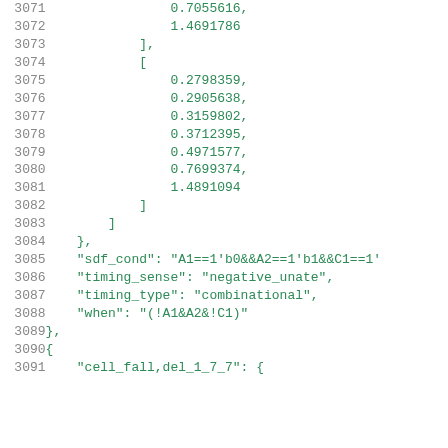Code listing lines 3071-3091 showing JSON/array data with numeric values and key-value pairs including sdf_cond, timing_sense, timing_type, when fields